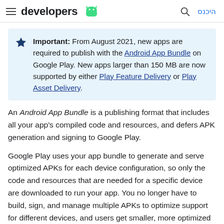developers [android logo] | [search icon] היכנס
Important: From August 2021, new apps are required to publish with the Android App Bundle on Google Play. New apps larger than 150 MB are now supported by either Play Feature Delivery or Play Asset Delivery.
An Android App Bundle is a publishing format that includes all your app's compiled code and resources, and defers APK generation and signing to Google Play.
Google Play uses your app bundle to generate and serve optimized APKs for each device configuration, so only the code and resources that are needed for a specific device are downloaded to run your app. You no longer have to build, sign, and manage multiple APKs to optimize support for different devices, and users get smaller, more optimized